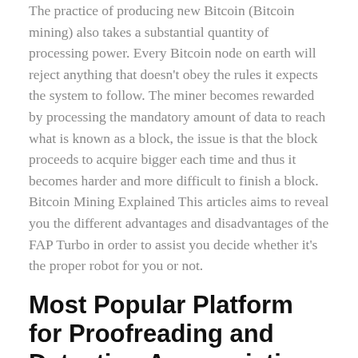The practice of producing new Bitcoin (Bitcoin mining) also takes a substantial quantity of processing power. Every Bitcoin node on earth will reject anything that doesn't obey the rules it expects the system to follow. The miner becomes rewarded by processing the mandatory amount of data to reach what is known as a block, the issue is that the block proceeds to acquire bigger each time and thus it becomes harder and more difficult to finish a block. Bitcoin Mining Explained This articles aims to reveal you the different advantages and disadvantages of the FAP Turbo in order to assist you decide whether it's the proper robot for you or not.
Most Popular Platform for Proofreading and Detecting Appropriation
Investing time and resources on anything associated with